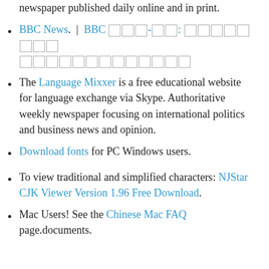newspaper published daily online and in print.
BBC News. | BBC [CJK]-[CJK]: [CJK characters]
The Language Mixxer is a free educational website for language exchange via Skype. Authoritative weekly newspaper focusing on international politics and business news and opinion.
Download fonts for PC Windows users.
To view traditional and simplified characters: NJStar CJK Viewer Version 1.96 Free Download.
Mac Users! See the Chinese Mac FAQ page.documents.